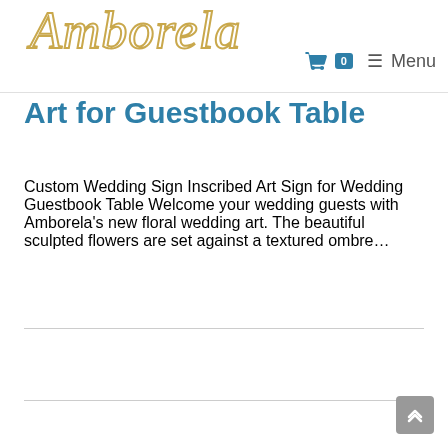Amborela
Art for Guestbook Table
Custom Wedding Sign Inscribed Art Sign for Wedding Guestbook Table Welcome your wedding guests with Amborela’s new floral wedding art. The beautiful sculpted flowers are set against a textured ombre…